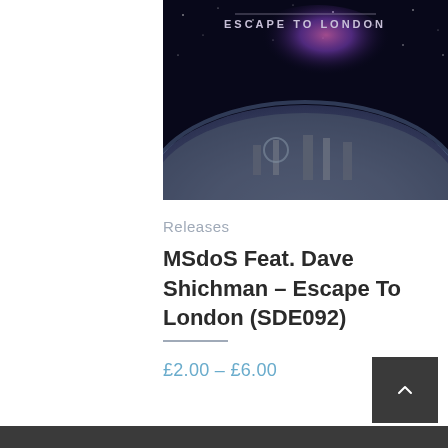[Figure (illustration): Album cover for 'Escape To London' showing a dramatic space/city image with London landmarks visible on a curved planet surface beneath a nebula sky, with the text 'ESCAPE TO LONDON' overlaid]
Releases
MSdoS Feat. Dave Shichman – Escape To London (SDE092)
£2.00 – £6.00